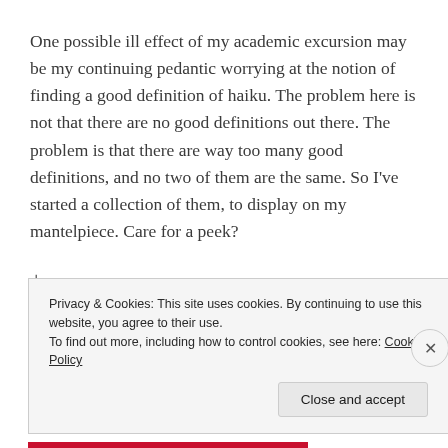One possible ill effect of my academic excursion may be my continuing pedantic worrying at the notion of finding a good definition of haiku. The problem here is not that there are no good definitions out there. The problem is that there are way too many good definitions, and no two of them are the same. So I've started a collection of them, to display on my mantelpiece. Care for a peek?
+
Privacy & Cookies: This site uses cookies. By continuing to use this website, you agree to their use.
To find out more, including how to control cookies, see here: Cookie Policy
Close and accept